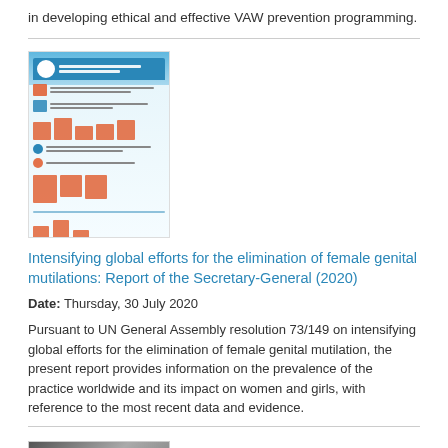in developing ethical and effective VAW prevention programming.
[Figure (infographic): Infographic thumbnail with blue header, orange icons and figures, depicting global efforts for elimination of female genital mutilations]
Intensifying global efforts for the elimination of female genital mutilations: Report of the Secretary-General (2020)
Date: Thursday, 30 July 2020
Pursuant to UN General Assembly resolution 73/149 on intensifying global efforts for the elimination of female genital mutilation, the present report provides information on the prevalence of the practice worldwide and its impact on women and girls, with reference to the most recent data and evidence.
[Figure (photo): Partial photo thumbnail at bottom of page, appears to show people in an outdoor or building setting]